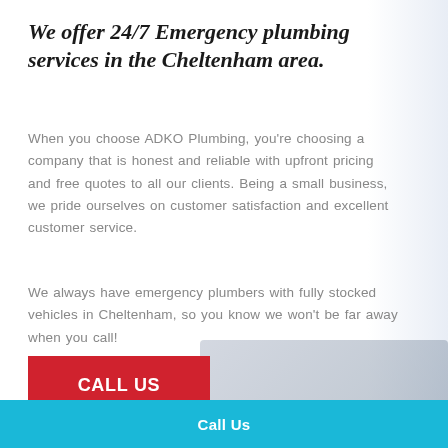We offer 24/7 Emergency plumbing services in the Cheltenham area.
When you choose ADKO Plumbing, you're choosing a company that is honest and reliable with upfront pricing and free quotes to all our clients. Being a small business, we pride ourselves on customer satisfaction and excellent customer service.
We always have emergency plumbers with fully stocked vehicles in Cheltenham, so you know we won't be far away when you call!
[Figure (photo): Partial view of a plumber and a tablet/laptop in the background on the right side of the page]
CALL US
Call Us